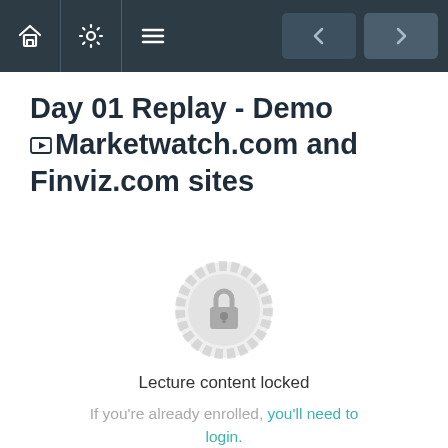Navigation bar with home, settings, menu icons and back/forward buttons
Day 01 Replay - Demo Marketwatch.com and Finviz.com sites
[Figure (illustration): Lock badge icon indicating locked lecture content]
Lecture content locked
If you're already enrolled, you'll need to login.